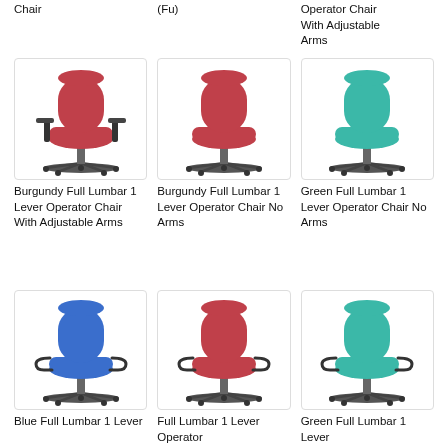Chair
(Fu)
Operator Chair With Adjustable Arms
[Figure (photo): Burgundy Full Lumbar 1 Lever Operator Chair With Adjustable Arms — office chair with adjustable arms, red/burgundy fabric]
Burgundy Full Lumbar 1 Lever Operator Chair With Adjustable Arms
[Figure (photo): Burgundy Full Lumbar 1 Lever Operator Chair No Arms — office chair without arms, red/burgundy fabric]
Burgundy Full Lumbar 1 Lever Operator Chair No Arms
[Figure (photo): Green Full Lumbar 1 Lever Operator Chair No Arms — office chair without arms, teal/green fabric]
Green Full Lumbar 1 Lever Operator Chair No Arms
[Figure (photo): Blue Full Lumbar 1 Lever Operator Chair — office chair, blue fabric]
Blue Full Lumbar 1 Lever
[Figure (photo): Full Lumbar 1 Lever Operator Chair — office chair with loop arms, red/burgundy fabric]
Full Lumbar 1 Lever Operator
[Figure (photo): Green Full Lumbar 1 Lever Operator Chair — office chair with loop arms, teal/green fabric]
Green Full Lumbar 1 Lever